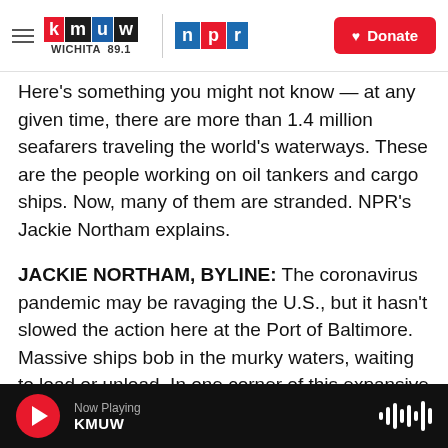KMUW Wichita 89.1 | NPR | Donate
Here's something you might not know — at any given time, there are more than 1.4 million seafarers traveling the world's waterways. These are the people working on oil tankers and cargo ships. Now, many of them are stranded. NPR's Jackie Northam explains.
JACKIE NORTHAM, BYLINE: The coronavirus pandemic may be ravaging the U.S., but it hasn't slowed the action here at the Port of Baltimore. Massive ships bob in the murky waters, waiting to load or unload. In one corner of this expansive port, Reverend Mary Davisson pulls alongside a towering ship…
Now Playing KMUW